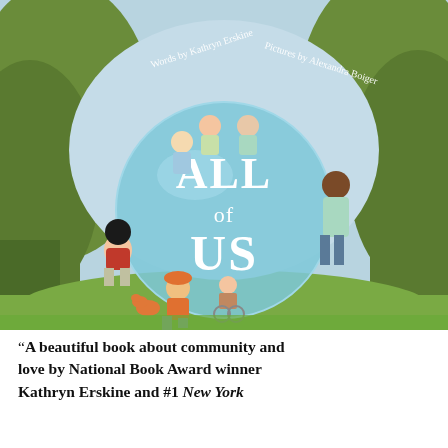[Figure (illustration): Book cover of 'All of Us' — Words by Kathryn Erskine, Pictures by Alexandra Boiger. Illustrated children of diverse backgrounds surround a large light-blue globe/sphere under a canopy of green trees. The title 'ALL of US' appears in large white serif letters on the sphere.]
"A beautiful book about community and love by National Book Award winner Kathryn Erskine and #1 New York